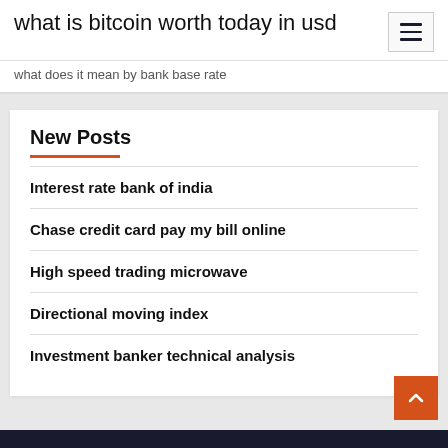what is bitcoin worth today in usd
what does it mean by bank base rate
New Posts
Interest rate bank of india
Chase credit card pay my bill online
High speed trading microwave
Directional moving index
Investment banker technical analysis